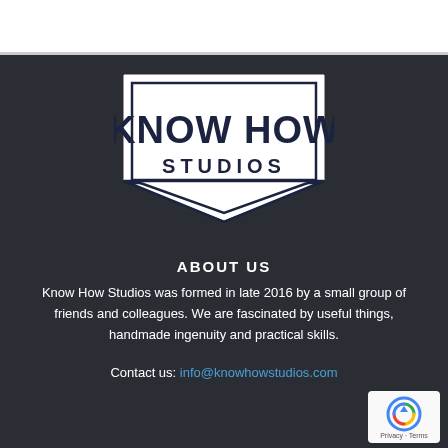[Figure (logo): Know How Studios logo — shield/badge shaped white emblem with dark navy text 'KNOW HOW' large and 'STUDIOS' below it in smaller caps, on dark background]
ABOUT US
Know How Studios was formed in late 2016 by a small group of friends and colleagues. We are fascinated by useful things, handmade ingenuity and practical skills.
Contact us: info@knowhowstudios.com